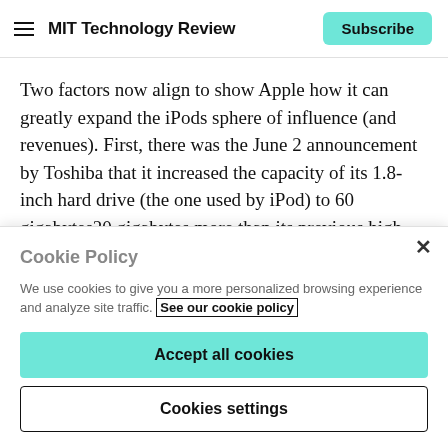MIT Technology Review
Two factors now align to show Apple how it can greatly expand the iPods sphere of influence (and revenues). First, there was the June 2 announcement by Toshiba that it increased the capacity of its 1.8-inch hard drive (the one used by iPod) to 60 gigabytes20 gigabytes more than its previous high-end unit in that form factor. Sixty gigabytes is more music [storage] than anyone will ever
Cookie Policy
We use cookies to give you a more personalized browsing experience and analyze site traffic. See our cookie policy
Accept all cookies
Cookies settings